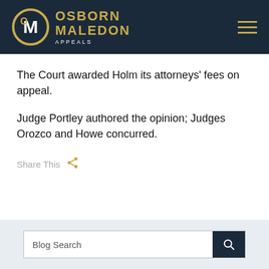[Figure (logo): Osborn Maledon Appeals logo with circular OM monogram in gold/white on dark navy header, with hamburger menu icon on right]
The Court awarded Holm its attorneys' fees on appeal.
Judge Portley authored the opinion; Judges Orozco and Howe concurred.
Share This
Blog Search